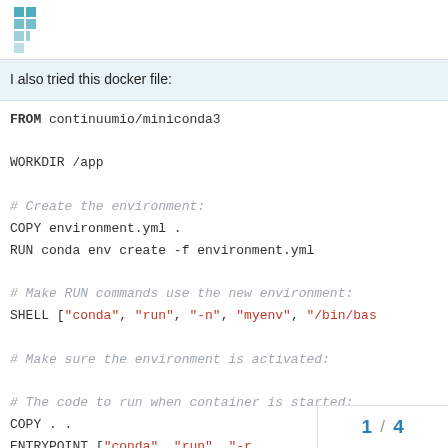Stack Overflow logo and navigation header
I also tried this docker file:
FROM continuumio/miniconda3

WORKDIR /app

# Create the environment:
COPY environment.yml .
RUN conda env create -f environment.yml

# Make RUN commands use the new environment:
SHELL ["conda", "run", "-n", "myenv", "/bin/bas

# Make sure the environment is activated:

# The code to run when container is started:
COPY . .
ENTRYPOINT ["conda", "run", "-...
1 / 4